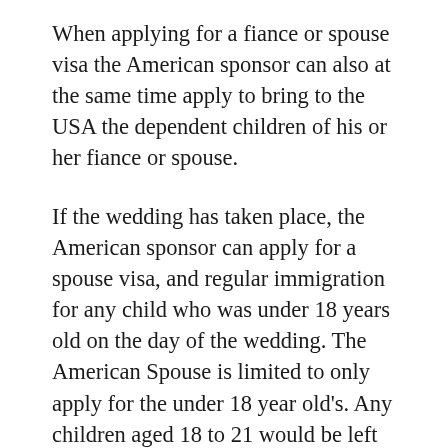When applying for a fiance or spouse visa the American sponsor can also at the same time apply to bring to the USA the dependent children of his or her fiance or spouse.
If the wedding has taken place, the American sponsor can apply for a spouse visa, and regular immigration for any child who was under 18 years old on the day of the wedding. The American Spouse is limited to only apply for the under 18 year old's. Any children aged 18 to 21 would be left behind.
However, if the couple is not married, and instead applying for a Fiance Visa, then the American can sponsor the older children too.